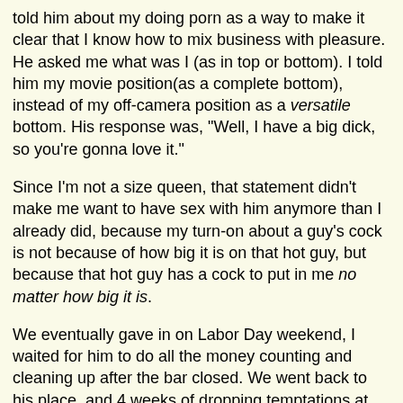told him about my doing porn as a way to make it clear that I know how to mix business with pleasure. He asked me what was I (as in top or bottom). I told him my movie position(as a complete bottom), instead of my off-camera position as a versatile bottom. His response was, "Well, I have a big dick, so you're gonna love it."
Since I'm not a size queen, that statement didn't make me want to have sex with him anymore than I already did, because my turn-on about a guy's cock is not because of how big it is on that hot guy, but because that hot guy has a cock to put in me no matter how big it is.
We eventually gave in on Labor Day weekend, I waited for him to do all the money counting and cleaning up after the bar closed. We went back to his place, and 4 weeks of dropping temptations at each other was finally going to become the utmost reality so I thought. We went back to his place, made out, then I got some news from him that didn't matter at first, but has come to mean quite a bit to me now.
He had took a hit of coke, so his getting a hard-on might